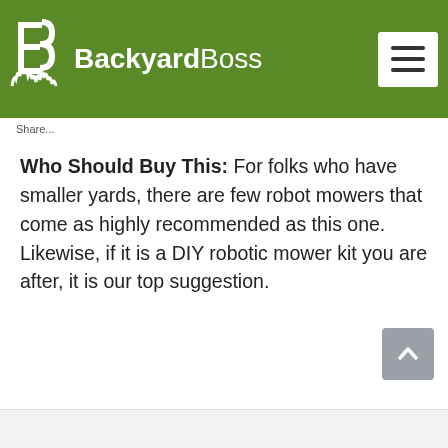BackyardBoss
Share...
Who Should Buy This: For folks who have smaller yards, there are few robot mowers that come as highly recommended as this one. Likewise, if it is a DIY robotic mower kit you are after, it is our top suggestion.